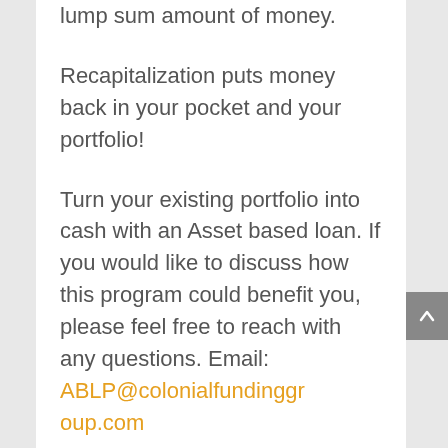lump sum amount of money.
Recapitalization puts money back in your pocket and your portfolio!
Turn your existing portfolio into cash with an Asset based loan. If you would like to discuss how this program could benefit you, please feel free to reach with any questions. Email: ABLP@colonialfundinggroup.com